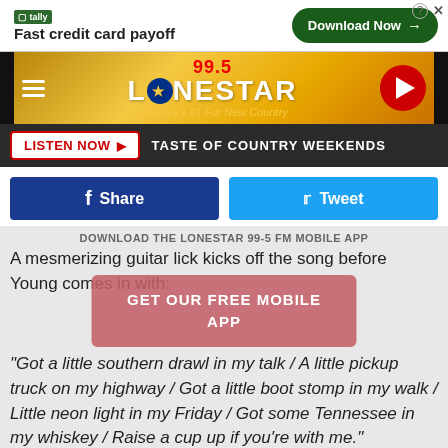[Figure (screenshot): Tally advertisement banner: Fast credit card payoff, Download Now button]
[Figure (logo): 99.5 Lonestar FM logo - Lubbock's #1 For New Country, with hamburger menu and play button]
LISTEN NOW ▶  TASTE OF COUNTRY WEEKENDS
[Figure (screenshot): Facebook Share and Twitter Tweet social sharing buttons]
DOWNLOAD THE LONESTAR 99-5 FM MOBILE APP
A mesmerizing guitar lick kicks off the song before Young comes in with:
[Figure (screenshot): GET OUR FREE MOBILE APP overlay button]
"Got a little southern drawl in my talk / A little pickup truck on my highway / Got a little boot stomp in my walk / Little neon light in my Friday / Got some Tennessee in my whiskey / Raise a cup up if you're with me."
Young first teased fans with a snippet of "Raised on Country" before...